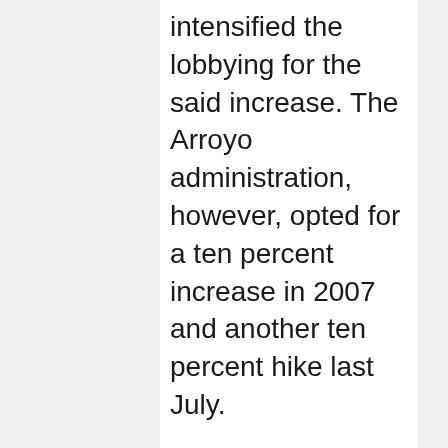intensified the lobbying for the said increase. The Arroyo administration, however, opted for a ten percent increase in 2007 and another ten percent hike last July.
Moreover, the group criticized the proposal made by Budget Secretary Rolando Andaya Jr., saying that it will only benefit higher officials, not the rank-and-file employees.
In the proposed 2009 national budget, P20 billion will be